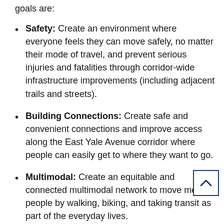goals are:
Safety: Create an environment where everyone feels they can move safely, no matter their mode of travel, and prevent serious injuries and fatalities through corridor-wide infrastructure improvements (including adjacent trails and streets).
Building Connections: Create safe and convenient connections and improve access along the East Yale Avenue corridor where people can easily get to where they want to go.
Multimodal: Create an equitable and connected multimodal network to move more people by walking, biking, and taking transit as part of the everyday lives.